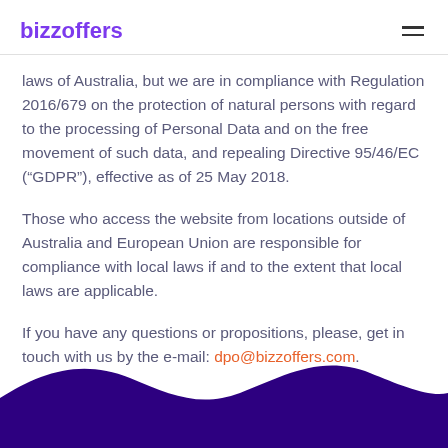bizzoffers
laws of Australia, but we are in compliance with Regulation 2016/679 on the protection of natural persons with regard to the processing of Personal Data and on the free movement of such data, and repealing Directive 95/46/EC (“GDPR”), effective as of 25 May 2018.
Those who access the website from locations outside of Australia and European Union are responsible for compliance with local laws if and to the extent that local laws are applicable.
If you have any questions or propositions, please, get in touch with us by the e-mail: dpo@bizzoffers.com.
[Figure (illustration): Dark purple wave decoration at the bottom of the page]